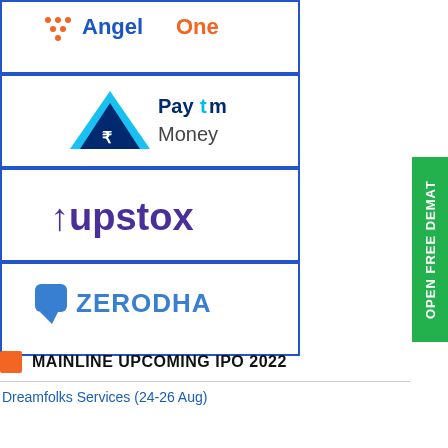[Figure (logo): Angel One broker logo — orange triangular grid icon with 'AngelOne' text in blue and orange]
[Figure (logo): Paytm Money broker logo — blue/navy triangle with rupee symbol and 'Paytm Money' text]
[Figure (logo): Upstox broker logo — purple 'upstox' wordmark with stylized arrow]
[Figure (logo): Zerodha broker logo — blue speech-bubble icon with 'ZERODHA' text in blue]
[Figure (other): Green vertical sidebar button reading 'OPEN FREE DEMAT']
MAINLINE UPCOMING IPO 2022
Dreamfolks Services (24-26 Aug)